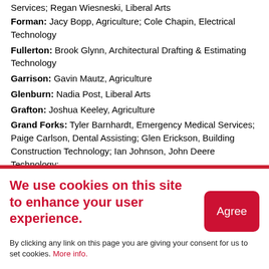Services; Regan Wiesneski, Liberal Arts
Forman: Jacy Bopp, Agriculture; Cole Chapin, Electrical Technology
Fullerton: Brook Glynn, Architectural Drafting & Estimating Technology
Garrison: Gavin Mautz, Agriculture
Glenburn: Nadia Post, Liberal Arts
Grafton: Joshua Keeley, Agriculture
Grand Forks: Tyler Barnhardt, Emergency Medical Services; Paige Carlson, Dental Assisting; Glen Erickson, Building Construction Technology; Ian Johnson, John Deere Technology;
We use cookies on this site to enhance your user experience.
By clicking any link on this page you are giving your consent for us to set cookies. More info.